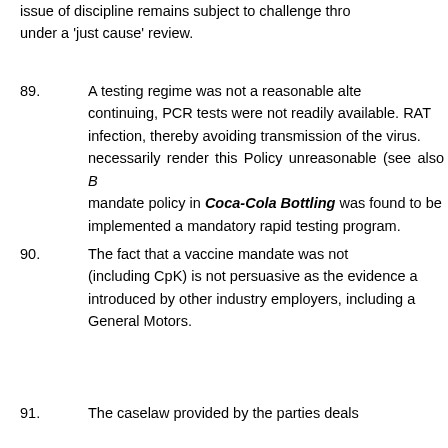issue of discipline remains subject to challenge through under a 'just cause' review.
89.    A testing regime was not a reasonable alternative. continuing, PCR tests were not readily available. RAT infection, thereby avoiding transmission of the virus. necessarily render this Policy unreasonable (see also B mandate policy in Coca-Cola Bottling was found to be implemented a mandatory rapid testing program.
90.    The fact that a vaccine mandate was not (including CpK) is not persuasive as the evidence a introduced by other industry employers, including a General Motors.
91.    The caselaw provided by the parties deals